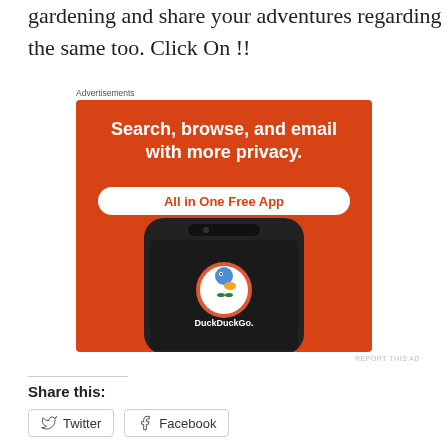gardening and share your adventures regarding the same too. Click On !!
[Figure (screenshot): DuckDuckGo advertisement banner with orange background showing 'Search, browse, and email with more privacy. All in One Free App' with DuckDuckGo logo on a phone screen]
REPORT THIS AD
Share this:
Twitter
Facebook